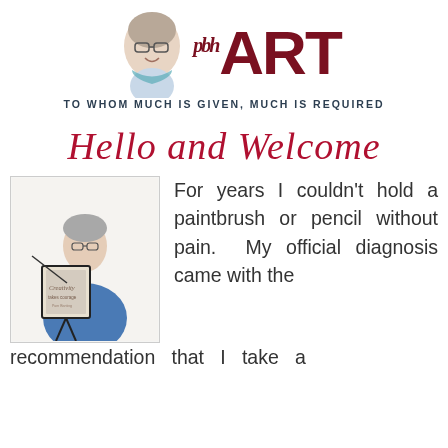[Figure (logo): pbbART logo with woman's face portrait, large red ART text, italic pbh prefix, and tagline 'TO WHOM MUCH IS GIVEN, MUCH IS REQUIRED']
Hello and Welcome
[Figure (photo): Woman in blue shirt holding a canvas/easel with text overlay 'Creativity takes courage']
For years I couldn't hold a paintbrush or pencil without pain. My official diagnosis came with the recommendation that I take a